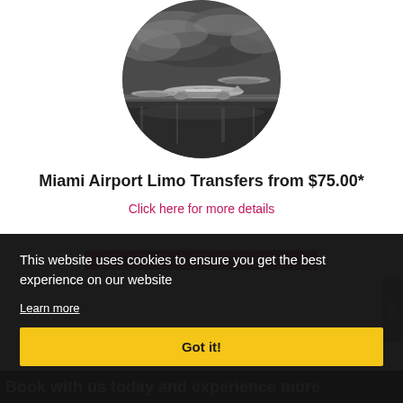[Figure (photo): Circular cropped black-and-white photo of an airport tarmac with airplanes parked under a dramatic cloudy sky.]
Miami Airport Limo Transfers from $75.00*
Click here for more details
This website uses cookies to ensure you get the best experience on our website
Learn more
Got it!
Book with us today and experience more